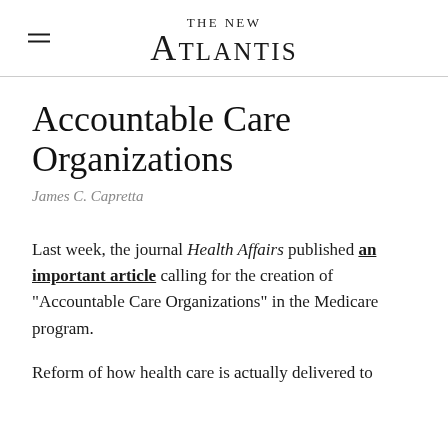The New Atlantis
Accountable Care Organizations
James C. Capretta
Last week, the journal Health Affairs published an important article calling for the creation of “Accountable Care Organizations” in the Medicare program.
Reform of how health care is actually delivered to